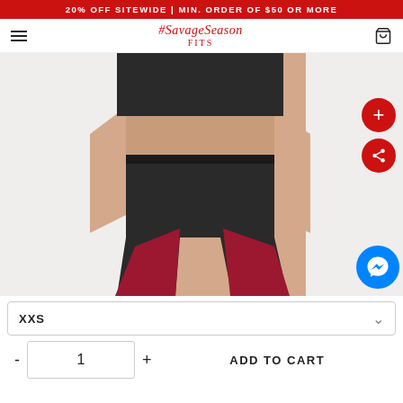20% OFF SITEWIDE | MIN. ORDER OF $50 OR MORE
[Figure (logo): #SavageSeason logo in red script with small text below]
[Figure (photo): Woman wearing black and red color-block athletic leggings with black sports bra crop top, cropped at torso]
XXS
- 1 + ADD TO CART